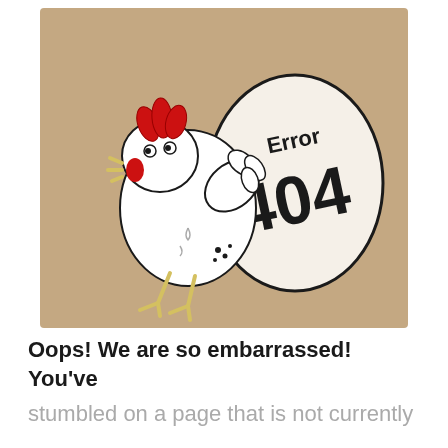[Figure (illustration): A cartoon illustration on a tan/beige background showing a white chicken (hen) with a red comb running to the left, with motion dots near its tail, and a large white egg to its right. The egg has 'Error 404' printed on it in large bold black text, with 'Error' at the top in smaller text and '404' in large numerals below.]
Oops! We are so embarrassed! You've
stumbled on a page that is not currently